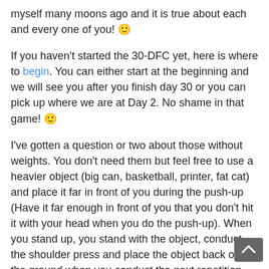myself many moons ago and it is true about each and every one of you! 🙂
If you haven't started the 30-DFC yet, here is where to begin. You can either start at the beginning and we will see you after you finish day 30 or you can pick up where we are at Day 2. No shame in that game! 🙂
I've gotten a question or two about those without weights. You don't need them but feel free to use a heavier object (big can, basketball, printer, fat cat) and place it far in front of you during the push-up (Have it far enough in front of you that you don't hit it with your head when you do the push-up). When you stand up, you stand with the object, conduct the shoulder press and place the object back on the ground when you conduct the next repetition. Easy! 🙂 If you have questions of comments, please let me know!
Even if you have no weights and are simply lifting your arms. Don't worry, you are helping yourself and doing great things. Your body will thank you later! 🙂